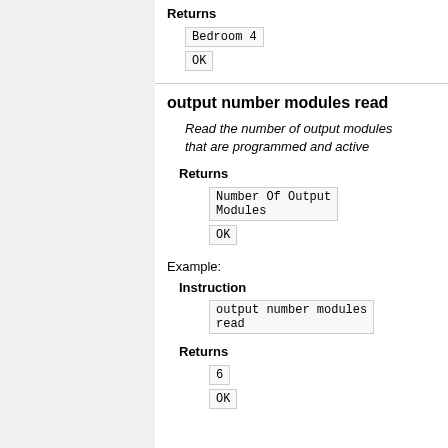Returns
Bedroom 4
OK
output number modules read
Read the number of output modules that are programmed and active
Returns
Number Of Output Modules
OK
Example:
Instruction
output number modules read
Returns
6
OK